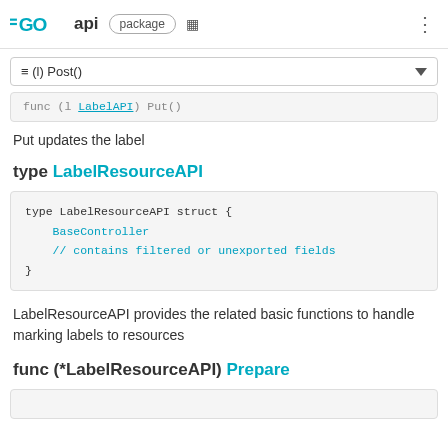GO api package
≡ (l) Post()
func (l LabelAPI) Put()
Put updates the label
type LabelResourceAPI
type LabelResourceAPI struct {
    BaseController
    // contains filtered or unexported fields
}
LabelResourceAPI provides the related basic functions to handle marking labels to resources
func (*LabelResourceAPI) Prepare